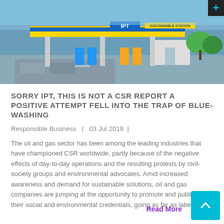[Figure (photo): Aerial/overhead photo of an IPT branded gas station with yellow and blue canopy structures, labeled 'SUSTAINABLE STATION', with surrounding urban landscape and parked vehicles.]
SORRY IPT, THIS IS NOT A CSR REPORT A POSITIVE ATTEMPT FELL INTO THE TRAP OF BLUE-WASHING
Responsible Business   |   03 Jul 2019   |
The oil and gas sector has been among the leading industries that have championed CSR worldwide, partly because of the negative effects of day-to-day operations and the resulting protests by civil-society groups and environmental advocates. Amid increased awareness and demand for sustainable solutions, oil and gas companies are jumping at the opportunity to promote and publicize their social and environmental credentials, going as far as labeling...
Read More